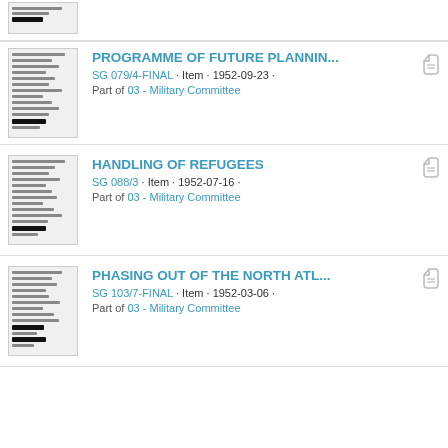PROGRAMME OF FUTURE PLANNIN... SG 079/4-FINAL · Item · 1952-09-23 · Part of 03 - Military Committee
HANDLING OF REFUGEES SG 088/3 · Item · 1952-07-16 · Part of 03 - Military Committee
PHASING OUT OF THE NORTH ATL... SG 103/7-FINAL · Item · 1952-03-06 · Part of 03 - Military Committee